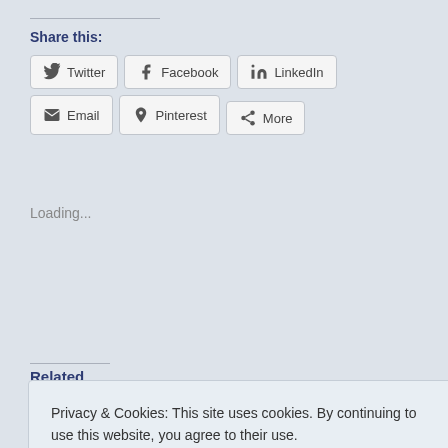Share this:
Twitter
Facebook
LinkedIn
Email
Pinterest
More
Loading...
Related
Privacy & Cookies: This site uses cookies. By continuing to use this website, you agree to their use. To find out more, including how to control cookies, see here: Cookie Policy
Close and accept